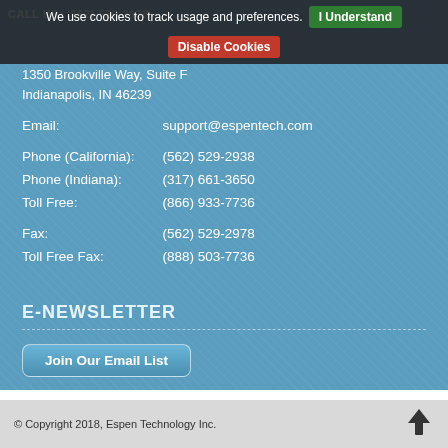CALL US: (562) 529-2938
We use cookies to track usage and preferences.
I Understand
Disable Cookies
1350 Brookville Way, Suite F
Indianapolis, IN 46239
Email:	support@espentech.com
Phone (California):	(562) 529-2938
Phone (Indiana):	(317) 661-3650
Toll Free:	(866) 933-7736
Fax:	(562) 529-2978
Toll Free Fax:	(888) 503-7736
E-NEWSLETTER
Join Our Email List
© Copyright 2018, Espen Technology Inc.